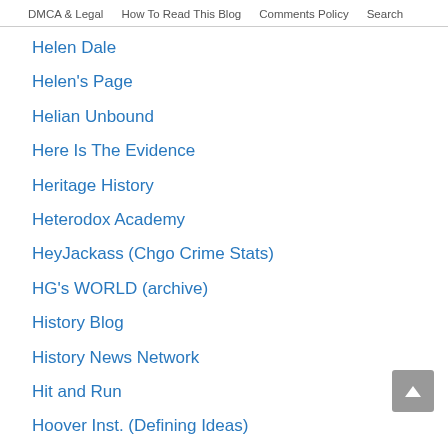DMCA & Legal   How To Read This Blog   Comments Policy   Search
Helen Dale
Helen's Page
Helian Unbound
Here Is The Evidence
Heritage History
Heterodox Academy
HeyJackass (Chgo Crime Stats)
HG's WORLD (archive)
History Blog
History News Network
Hit and Run
Hoover Inst. (Defining Ideas)